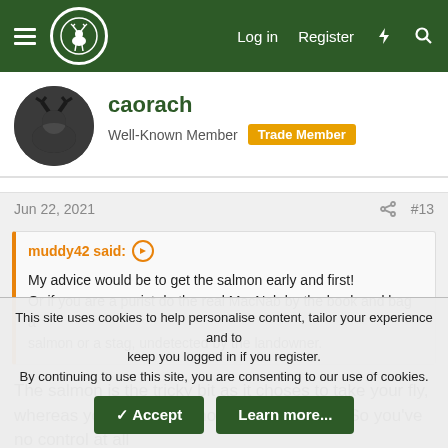Forum navigation header with logo, Log in, Register links
caorach
Well-Known Member  Trade Member
Jun 22, 2021  #13
muddy42 said: My advice would be to get the salmon early and first! Or if you are a purist do the real MacNab by the book and bag a salmon or a stag, undetected by the landowner.
The salmon is the tricky bit as it choses to take your fly, whereas you decide to shoot the other stuff. So you've no control at all
This site uses cookies to help personalise content, tailor your experience and to keep you logged in if you register.
By continuing to use this site, you are consenting to our use of cookies.